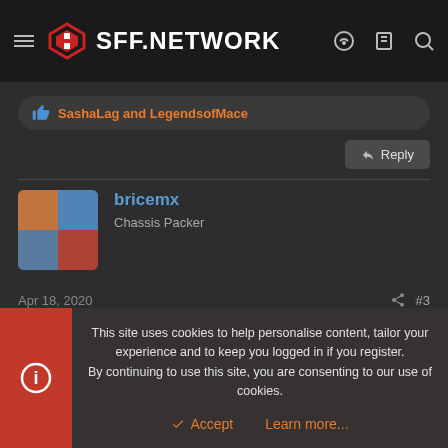SFF.NETWORK
SashaLag and LegendsofMace
Reply
bricemx
Chassis Packer
Apr 18, 2020
#3
This site uses cookies to help personalise content, tailor your experience and to keep you logged in if you register. By continuing to use this site, you are consenting to our use of cookies.
Accept
Learn more...